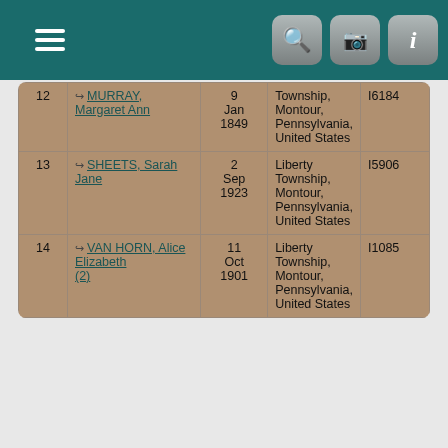[Figure (screenshot): Mobile app navigation bar with hamburger menu, search, camera, and info icons on teal background]
| # | Name | Date | Place | Person ID |
| --- | --- | --- | --- | --- |
| 12 | MURRAY, Margaret Ann | 9 Jan 1849 | Township, Montour, Pennsylvania, United States | I6184 |
| 13 | SHEETS, Sarah Jane | 2 Sep 1923 | Liberty Township, Montour, Pennsylvania, United States | I5906 |
| 14 | VAN HORN, Alice Elizabeth (2) | 11 Oct 1901 | Liberty Township, Montour, Pennsylvania, United States | I1085 |
Buried
Matches 1 to 15 of 15
| # | Last Name, Given Name(s) | Buried | Person ID |
| --- | --- | --- | --- |
| 1 | BECK, Benjamin | Liberty Township, Montour, Pennsylvania, United States | I2458 |